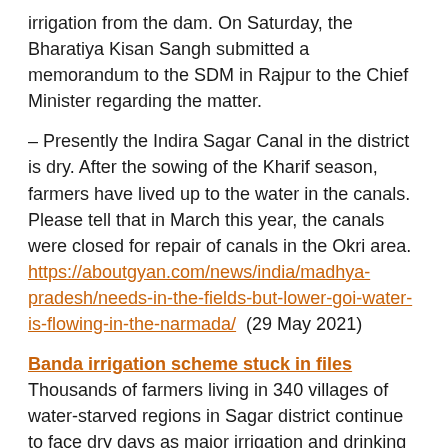irrigation from the dam. On Saturday, the Bharatiya Kisan Sangh submitted a memorandum to the SDM in Rajpur to the Chief Minister regarding the matter.
– Presently the Indira Sagar Canal in the district is dry. After the sowing of the Kharif season, farmers have lived up to the water in the canals. Please tell that in March this year, the canals were closed for repair of canals in the Okri area. https://aboutgyan.com/news/india/madhya-pradesh/needs-in-the-fields-but-lower-goi-water-is-flowing-in-the-narmada/ (29 May 2021)
Banda irrigation scheme stuck in files Thousands of farmers living in 340 villages of water-starved regions in Sagar district continue to face dry days as major irrigation and drinking water projects are stuck in pending files. The biggest of them is the Rs 1,500-crore-worth Banda irrigation project. It was approved by CM Shivraj Singh